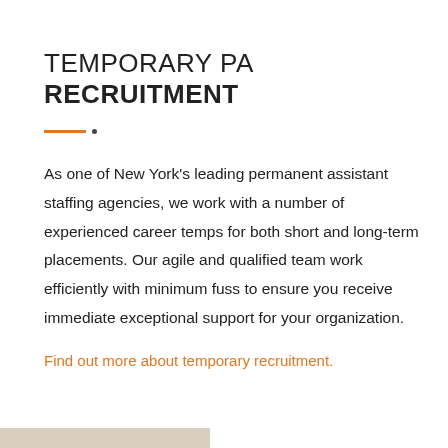TEMPORARY PA RECRUITMENT
As one of New York's leading permanent assistant staffing agencies, we work with a number of experienced career temps for both short and long-term placements. Our agile and qualified team work efficiently with minimum fuss to ensure you receive immediate exceptional support for your organization.
Find out more about temporary recruitment.